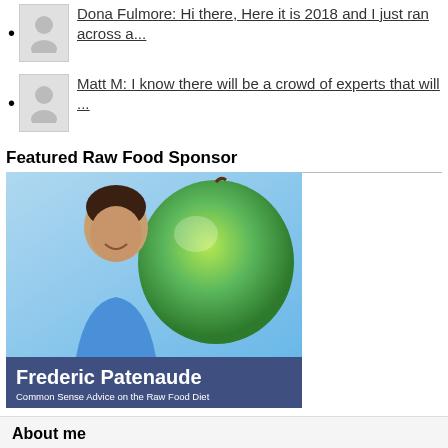Dona Fulmore: Hi there, Here it is 2018 and I just ran across a...
Matt M: I know there will be a crowd of experts that will ...
Featured Raw Food Sponsor
[Figure (photo): Frederic Patenaude promotional banner showing a man smiling next to a large green apple with text 'Frederic Patenaude - Common Sense Advice on the Raw Food Diet']
About me